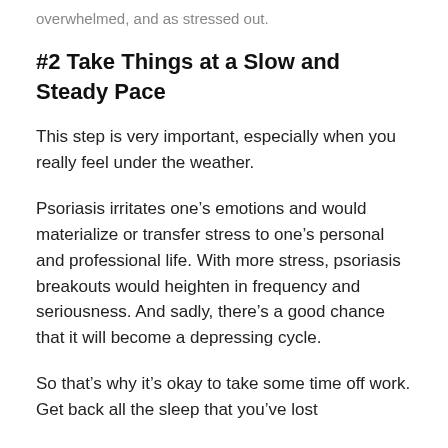overwhelmed, and as stressed out.
#2 Take Things at a Slow and Steady Pace
This step is very important, especially when you really feel under the weather.
Psoriasis irritates one’s emotions and would materialize or transfer stress to one’s personal and professional life. With more stress, psoriasis breakouts would heighten in frequency and seriousness. And sadly, there’s a good chance that it will become a depressing cycle.
So that’s why it’s okay to take some time off work. Get back all the sleep that you’ve lost